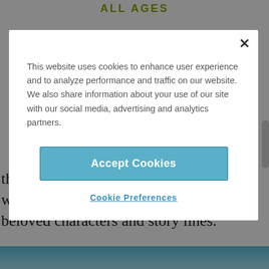ALL AGES
these iconic destinations, some of which offer attractions dedicated to the beloved characters and story lines.
[Figure (screenshot): Cookie consent modal dialog with 'Accept Cookies' button and 'Cookie Preferences' link. Text reads: 'This website uses cookies to enhance user experience and to analyze performance and traffic on our website. We also share information about your use of our site with our social media, advertising and analytics partners.']
[Figure (photo): Blue sky or water image visible at the bottom of the page, partially cropped.]